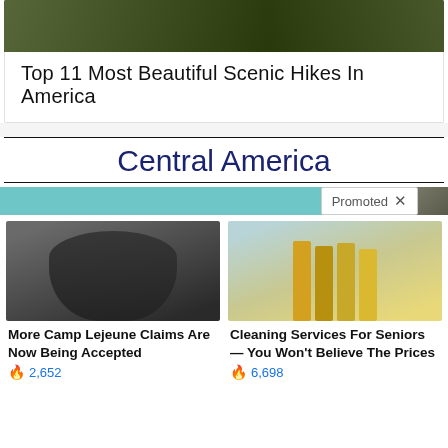[Figure (photo): Dark nature/forest hiking scene image cropped at top]
Top 11 Most Beautiful Scenic Hikes In America
Central America
[Figure (infographic): Promoted ad bar with teal/blue band and 'Promoted X' badge and small image on right]
[Figure (photo): Person in hazmat suit with gas mask and gloves]
More Camp Lejeune Claims Are Now Being Accepted
2,652
[Figure (photo): Four women in yellow uniforms holding cleaning equipment, smiling]
Cleaning Services For Seniors — You Won't Believe The Prices
6,698